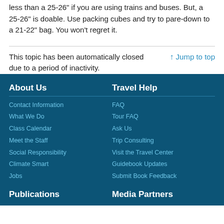less than a 25-26" if you are using trains and buses. But, a 25-26" is doable. Use packing cubes and try to pare-down to a 21-22" bag. You won't regret it.
This topic has been automatically closed due to a period of inactivity.
↑ Jump to top
About Us
Contact Information
What We Do
Class Calendar
Meet the Staff
Social Responsibility
Climate Smart
Jobs
Travel Help
FAQ
Tour FAQ
Ask Us
Trip Consulting
Visit the Travel Center
Guidebook Updates
Submit Book Feedback
Publications
Media Partners